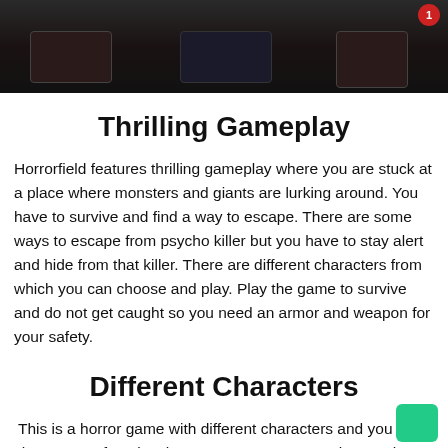[Figure (screenshot): Dark game screenshot showing a horror game scene with dark surfaces and a red circular HUD indicator in the top right corner showing '1']
Thrilling Gameplay
Horrorfield features thrilling gameplay where you are stuck at a place where monsters and giants are lurking around. You have to survive and find a way to escape. There are some ways to escape from psycho killer but you have to stay alert and hide from that killer. There are different characters from which you can choose and play. Play the game to survive and do not get caught so you need an armor and weapon for your safety.
Different Characters
This is a horror game with different characters and you can choose your favorite character to start a gameplay. Each